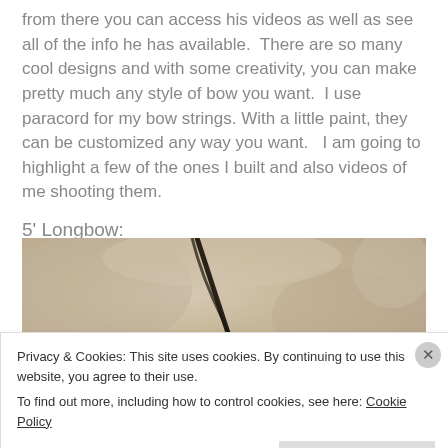from there you can access his videos as well as see all of the info he has available.  There are so many cool designs and with some creativity, you can make pretty much any style of bow you want.  I use paracord for my bow strings. With a little paint, they can be customized any way you want.   I am going to highlight a few of the ones I built and also videos of me shooting them.
5' Longbow:
[Figure (photo): A longbow leaning against a beige/tan wall, photographed from below looking upward. The bow is dark colored against the neutral background.]
Privacy & Cookies: This site uses cookies. By continuing to use this website, you agree to their use.
To find out more, including how to control cookies, see here: Cookie Policy
Close and accept